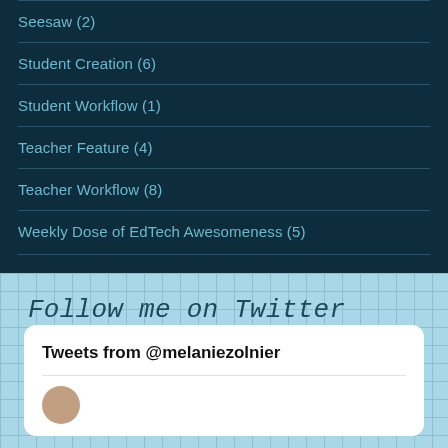Seesaw (2)
Student Creation (6)
Student Workflow (1)
Teacher Feature (4)
Teacher Workflow (8)
Weekly Dose of EdTech Awesomeness (5)
Follow me on Twitter
Tweets from @melaniezolnier